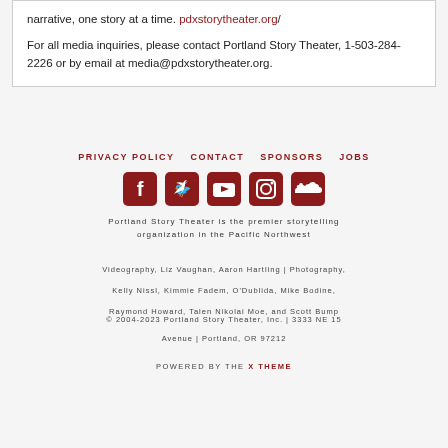narrative, one story at a time. pdxstorytheater.org/
For all media inquiries, please contact Portland Story Theater, 1-503-284-2226 or by email at media@pdxstorytheater.org.
PRIVACY POLICY   CONTACT   SPONSORS   JOBS
[Figure (other): Social media icons: Facebook, Twitter, YouTube, Instagram, SoundCloud]
Portland Story Theater is the premier storytelling organization in the Pacific Northwest
Videography, Liz Vaughan, Aaron Hartling | Photography, Kelly Nissl, Kimmie Fadem, O'Dublida, Mike Bodine, Raymond Howard, Talen Nikolai Moe, and Scott Bump
© 2004-2023 Portland Story Theater, Inc. | 3333 NE 15 Avenue | Portland, OR 97212
POWERED BY THE X THEME